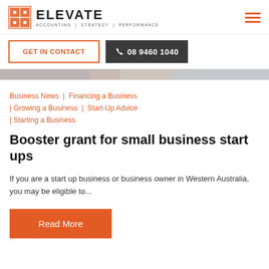[Figure (logo): Elevate Accounting Strategy Performance logo with orange grid icon and company name]
GET IN CONTACT
08 9460 1040
[Figure (photo): Partial image strip at top of content area]
Business News | Financing a Business | Growing a Business | Start-Up Advice | Starting a Business
Booster grant for small business start ups
If you are a start up business or business owner in Western Australia, you may be eligible to...
Read More